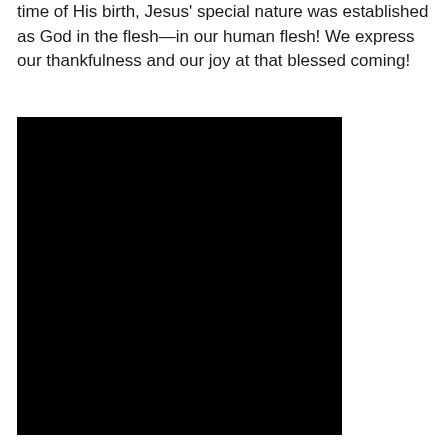time of His birth, Jesus' special nature was established as God in the flesh—in our human flesh! We express our thankfulness and our joy at that blessed coming!
[Figure (photo): A large black rectangular image, likely a photograph that is very dark or blacked out, occupying the left portion of the page below the text.]